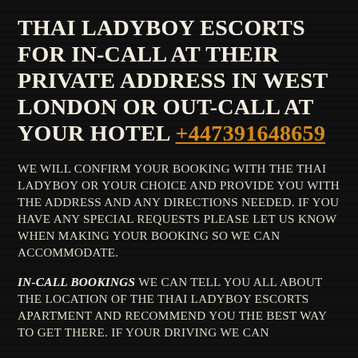Thai Ladyboy Escorts for in-call at their private address in west London or out-call at your hotel +447391648659
We will confirm your booking with the Thai Ladyboy or your choice and provide you with the address and any directions needed. If you have any special requests please let us know when making your booking so we can accommodate.
In-call bookings we can tell you all about the location of the Thai Ladyboy escorts apartment and recommend you the best way to get there. If your driving we can